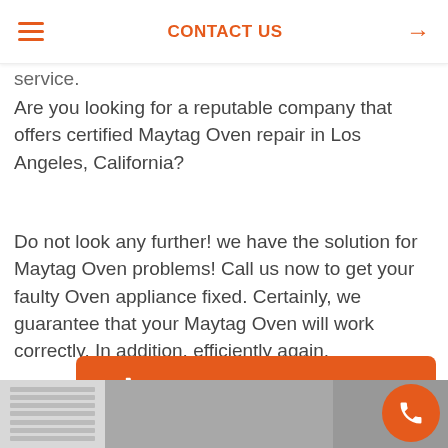CONTACT US →
service.
Are you looking for a reputable company that offers certified Maytag Oven repair in Los Angeles, California?
Do not look any further! we have the solution for Maytag Oven problems! Call us now to get your faulty Oven appliance fixed. Certainly, we guarantee that your Maytag Oven will work correctly. In addition, efficiently again.
📞 SCHEDULE AN APPOINTMENT
[Figure (photo): Bottom strip showing a partial image of a person and appliance in the background]